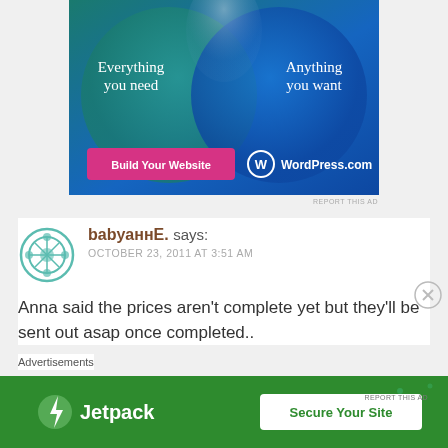[Figure (illustration): WordPress.com advertisement banner showing two overlapping circles (Venn diagram style) on a teal-to-blue gradient background. Left text: 'Everything you need', Right text: 'Anything you want'. Pink button 'Build Your Website' on left, WordPress.com logo on right.]
REPORT THIS AD
babyаннЕ. says:
OCTOBER 23, 2011 AT 3:51 AM
Anna said the prices aren't complete yet but they'll be sent out asap once completed..
Advertisements
[Figure (illustration): Jetpack advertisement banner on green background. Jetpack logo on left with lightning bolt icon, 'Secure Your Site' white button on right.]